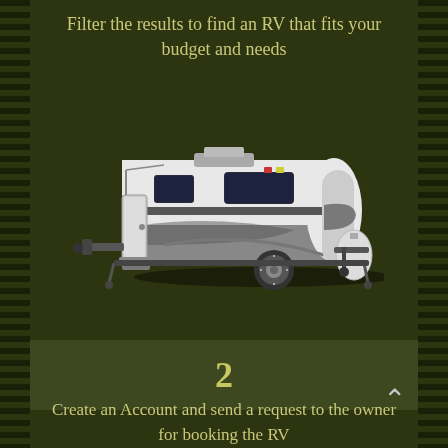Filter the results to find an RV that fits your budget and needs
[Figure (photo): A white and gray travel trailer / RV with slide-out step and awning bracket, shown on a dark olive-green background.]
2
Create an Account and send a request to the owner for booking the RV